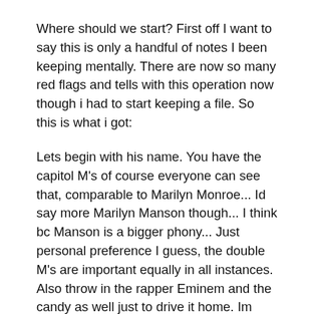Where should we start? First off I want to say this is only a handful of notes I been keeping mentally. There are now so many red flags and tells with this operation now though i had to start keeping a file. So this is what i got:
Lets begin with his name. You have the capitol M's of course everyone can see that, comparable to Marilyn Monroe... Id say more Marilyn Manson though... I think bc Manson is a bigger phony... Just personal preference I guess, the double M's are important equally in all instances. Also throw in the rapper Eminem and the candy as well just to drive it home. Im sure there are countless more but you get the point. There are also just as many reasons why this is significant so you can pick your choice there too, Im not going to argue trivial details. You